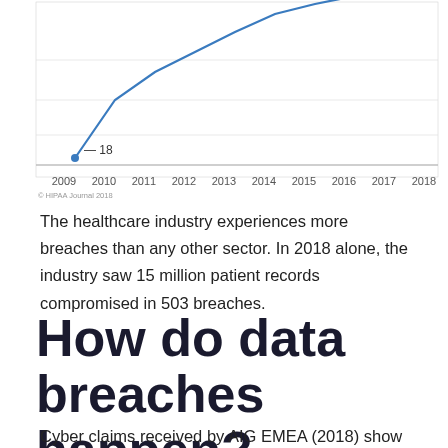[Figure (line-chart): Healthcare data breaches over time]
The healthcare industry experiences more breaches than any other sector. In 2018 alone, the industry saw 15 million patient records compromised in 503 breaches.
How do data breaches happen?
Cyber claims received by AIG EMEA (2018) show that